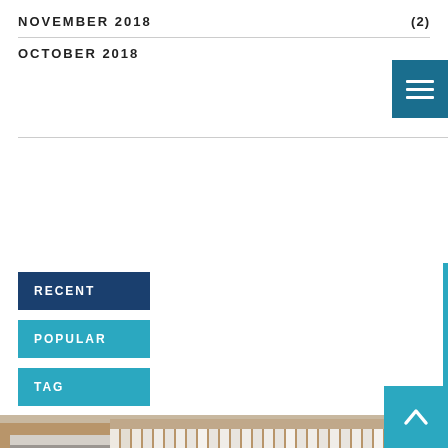NOVEMBER 2018 (2)
OCTOBER 2018
[Figure (screenshot): Navigation hamburger menu icon (three horizontal lines) on teal/dark blue background, top right corner]
RECENT
POPULAR
TAG
[Figure (photo): Interior photo of a room with white sheer vertical blinds/curtains on large windows and a horizontal blind on the left window. Warm brown walls, natural light.]
[Figure (other): Teal scroll-to-top button with upward caret arrow, bottom right corner]